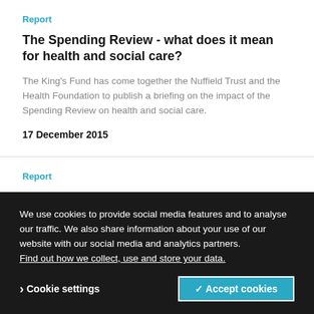Report
The Spending Review - what does it mean for health and social care?
The King's Fund has come together the Nuffield Trust and the Health Foundation to publish a briefing on the impact of the Spending Review on health and social care.
17 December 2015
Report
Intentional whole health system redesign: Southcentral Foundation's 'Nuka' system of care
Southcentral Foundation's redesign of their health care system in Alaska has attracted international attention. This paper explores the foundation's principles of integrated, patient-centred care delivered internationally. What can the English NHS learn from Southcentral's experiences?
We use cookies to provide social media features and to analyse our traffic. We also share information about your use of our website with our social media and analytics partners. Find out how we collect, use and store your data.